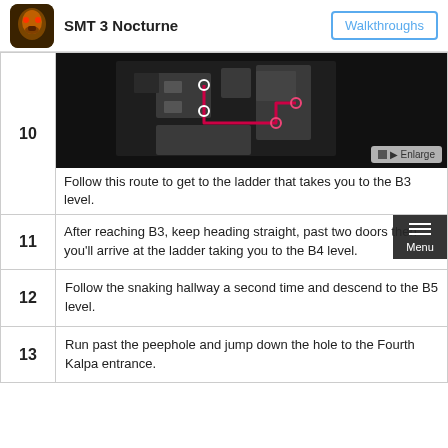SMT 3 Nocturne | Walkthroughs
[Figure (screenshot): Game map screenshot showing a dungeon route with a red path leading to a ladder on the B3 level. Dark background with gray floor tiles and a winding pink/red route marked on the map.]
Follow this route to get to the ladder that takes you to the B3 level.
11 After reaching B3, keep heading straight, past two doors then you'll arrive at the ladder taking you to the B4 level.
12 Follow the snaking hallway a second time and descend to the B5 level.
13 Run past the peephole and jump down the hole to the Fourth Kalpa entrance.